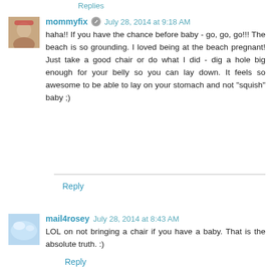Replies
mommyfix  July 28, 2014 at 9:18 AM
haha!! If you have the chance before baby - go, go, go!!! The beach is so grounding. I loved being at the beach pregnant! Just take a good chair or do what I did - dig a hole big enough for your belly so you can lay down. It feels so awesome to be able to lay on your stomach and not "squish" baby ;)
Reply
mail4rosey  July 28, 2014 at 8:43 AM
LOL on not bringing a chair if you have a baby. That is the absolute truth. :)
Reply
Replies